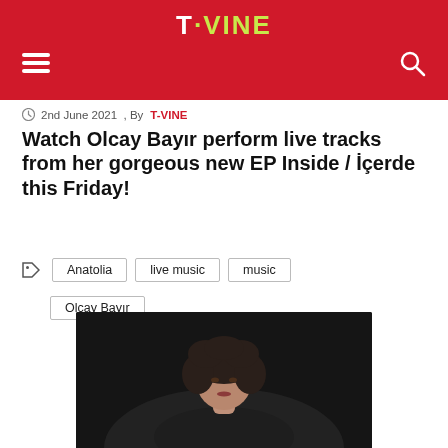T·VINE
2nd June 2021 , By T-VINE
Watch Olcay Bayır perform live tracks from her gorgeous new EP Inside / İçerde this Friday!
Anatolia
live music
music
Olcay Bayır
[Figure (photo): Portrait photo of Olcay Bayır against a dark background, showing a woman with curly dark hair wearing a dark top.]